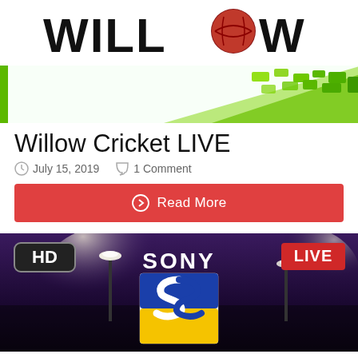[Figure (logo): Willow Cricket logo with text WILLOW and a cricket ball replacing the O]
[Figure (illustration): Banner with green cricket field background with bright green elements on the right]
Willow Cricket LIVE
July 15, 2019   1 Comment
Read More
[Figure (screenshot): Sony TV live stream thumbnail showing HD badge top left, LIVE badge top right, SONY text center top, Sony LIV logo with blue and yellow S, cricket stadium lights in background]